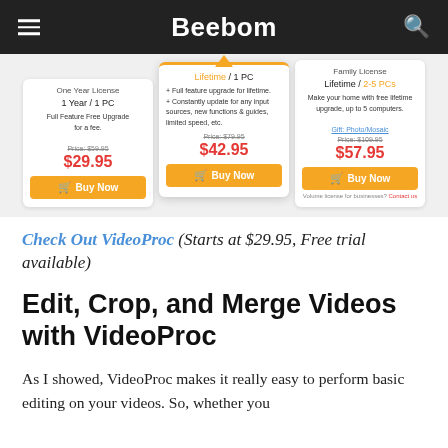Beebom
[Figure (screenshot): Pricing cards for VideoProc software showing three tiers: One Year License ($29.95), Lifetime/1PC ($42.95), and Family License ($57.95), each with a yellow Buy Now button.]
Check Out VideoProc (Starts at $29.95, Free trial available)
Edit, Crop, and Merge Videos with VideoProc
As I showed, VideoProc makes it really easy to perform basic editing on your videos. So, whether you